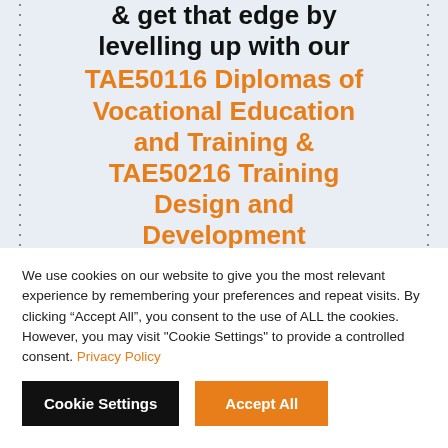& get that edge by levelling up with our TAE50116 Diplomas of Vocational Education and Training & TAE50216 Training Design and Development
We use cookies on our website to give you the most relevant experience by remembering your preferences and repeat visits. By clicking “Accept All”, you consent to the use of ALL the cookies. However, you may visit "Cookie Settings" to provide a controlled consent. Privacy Policy